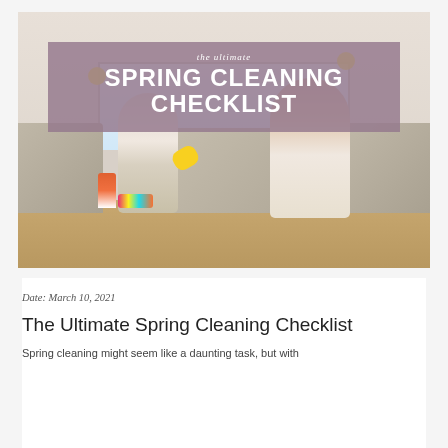[Figure (photo): Photo of a woman and young child sitting on the floor in a living room, high-fiving while surrounded by cleaning supplies. The woman wears yellow rubber gloves and a plaid shirt. The child holds a spray bottle. Colorful cleaning cloths and a mop are visible on the floor. A banner overlay reads 'the ultimate SPRING CLEANING CHECKLIST'.]
Date: March 10, 2021
The Ultimate Spring Cleaning Checklist
Spring cleaning might seem like a daunting task, but with